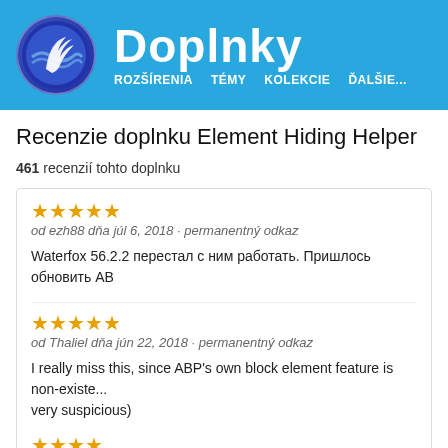[Figure (screenshot): Firefox Doplnky (Add-ons) site header with blue background, circular logo with feather/Firefox icon, large white 'Doplnky' text, and navigation links: ROZŠÍRENIA, TÉMY, KOLEKCIE, ĎALŠIE...]
Recenzie doplnku Element Hiding Helper
461 recenzií tohto doplnku
★★★★★
od ezh88 dňa júl 6, 2018 · permanentný odkaz
Waterfox 56.2.2 перестал с ним работать. Пришлось обновить AB
★★★★★
od Thaliel dňa jún 22, 2018 · permanentný odkaz
I really miss this, since ABP's own block element feature is non-existe... very suspicious)
★★★★